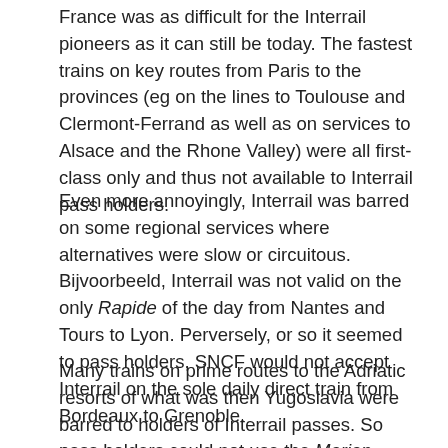France was as difficult for the Interrail pioneers as it can still be today. The fastest trains on key routes from Paris to the provinces (eg on the lines to Toulouse and Clermont-Ferrand as well as on services to Alsace and the Rhone Valley) were all first-class only and thus not available to Interrail pass holders.
Even more annoyingly, Interrail was barred on some regional services where alternatives were slow or circuitous. Bijvoorbeeld, Interrail was not valid on the only Rapide of the day from Nantes and Tours to Lyon. Perversely, or so it seemed to pass holders, SNCF would not accept Interrail on the sole daily direct train from Bordeaux to Grenoble.
Many trains on prime routes to the Adriatic resorts of what was then Yugoslavia were barred to holders of Interrail passes. So pass holders could not use the Marjan Express from Zagreb to Split, die Arena from Zagreb to Pula or the fastest trains from Zagreb to Rijeka.